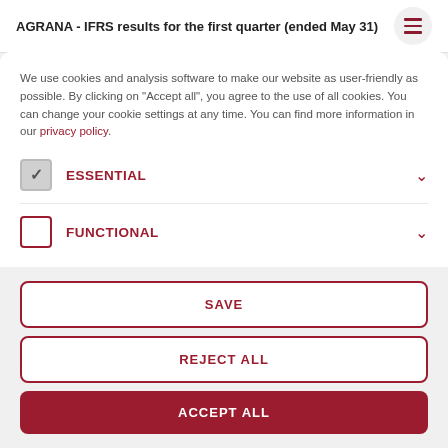AGRANA - IFRS results for the first quarter (ended May 31)
We use cookies and analysis software to make our website as user-friendly as possible. By clicking on "Accept all", you agree to the use of all cookies. You can change your cookie settings at any time. You can find more information in our privacy policy.
ESSENTIAL
FUNCTIONAL
SAVE
REJECT ALL
ACCEPT ALL